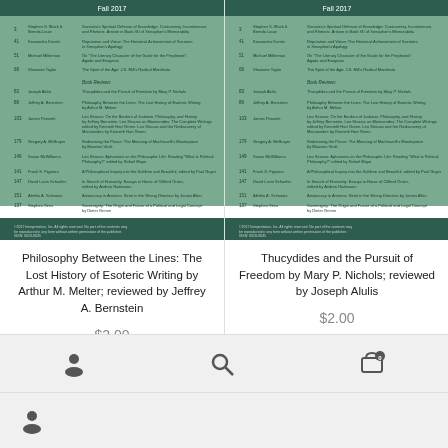[Figure (screenshot): Left journal cover - green themed table of contents for Interpretation journal, Vol. 2017]
Philosophy Between the Lines: The Lost History of Esoteric Writing by Arthur M. Melter; reviewed by Jeffrey A. Bernstein
$2.00
[Figure (screenshot): Right journal cover - green themed table of contents for Interpretation journal, Vol. 2017]
Thucydides and the Pursuit of Freedom by Mary P. Nichols; reviewed by Joseph Alulis
$2.00
Add to cart